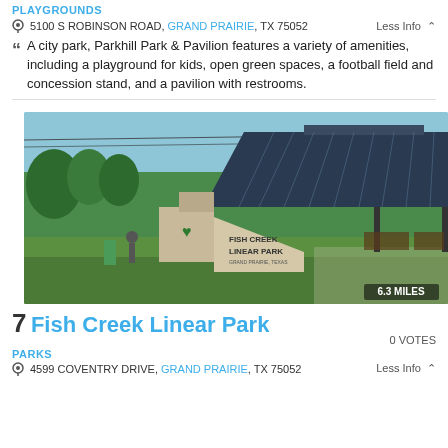PLAYGROUNDS
5100 S ROBINSON ROAD, GRAND PRAIRIE, TX 75052 Less Info
A city park, Parkhill Park & Pavilion features a variety of amenities, including a playground for kids, open green spaces, a football field and concession stand, and a pavilion with restrooms.
[Figure (photo): Photo of Fish Creek Linear Park showing a park pavilion with a dark metal roof, trees in background, and a stone sign reading FISH CREEK LINEAR PARK. Distance badge shows 6.3 MILES.]
7 Fish Creek Linear Park
PARKS 0 VOTES
4599 COVENTRY DRIVE, GRAND PRAIRIE, TX 75052 Less Info